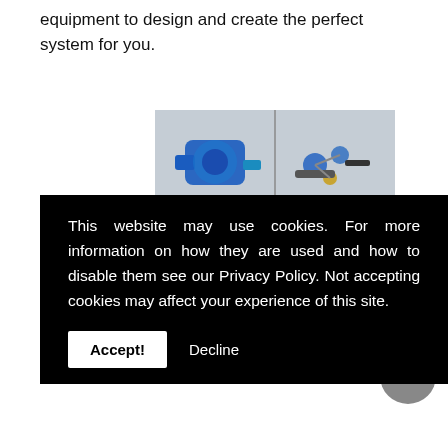equipment to design and create the perfect system for you.
[Figure (photo): Photo of blue industrial pumps and hose equipment against a light background, shown in two panels side by side.]
This website may use cookies. For more information on how they are used and how to disable them see our Privacy Policy. Not accepting cookies may affect your experience of this site.
Accept!  Decline
the people of Cwmbran. All of our pumps are designed to accommodate chemicals, food, fuels, water and air so you are never left without reliable pumps and hoses again.
We are the pump and hose experts to call in the